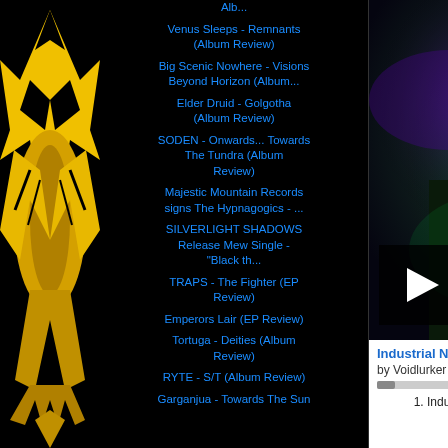[Figure (illustration): Yellow and black stylized logo/mascot on black background in left panel]
Alb...
Venus Sleeps - Remnants (Album Review)
Big Scenic Nowhere - Visions Beyond Horizon (Album...
Elder Druid - Golgotha (Album Review)
SODEN - Onwards... Towards The Tundra (Album Review)
Majestic Mountain Records signs The Hypnagogics - ...
SILVERLIGHT SHADOWS Release Mew Single - "Black th...
TRAPS - The Fighter (EP Review)
Emperors Lair (EP Review)
Tortuga - Deities (Album Review)
RYTE - S/T (Album Review)
Garganjua - Towards The Sun
[Figure (screenshot): Music player widget showing album art for Industrial Nightmare by Voidlurker with play button, progress bar, and track listing]
Industrial Nightma...
by Voidlurker
1. Industrial Nightm...